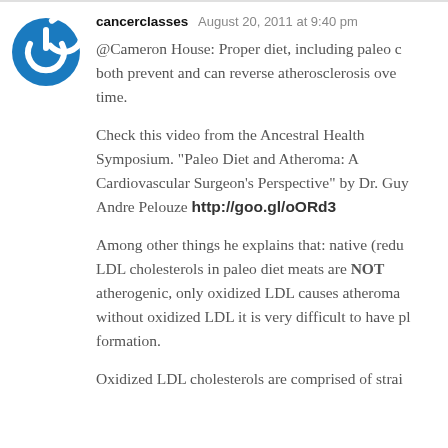[Figure (logo): Circular blue power button icon — cancerclasses user avatar]
cancerclasses   August 20, 2011 at 9:40 pm
@Cameron House: Proper diet, including paleo can both prevent and can reverse atherosclerosis over time.
Check this video from the Ancestral Health Symposium. "Paleo Diet and Atheroma: A Cardiovascular Surgeon's Perspective" by Dr. Guy Andre Pelouze http://goo.gl/oORd3
Among other things he explains that: native (reduced) LDL cholesterols in paleo diet meats are NOT atherogenic, only oxidized LDL causes atheroma; without oxidized LDL it is very difficult to have plaque formation.
Oxidized LDL cholesterols are comprised of strai...